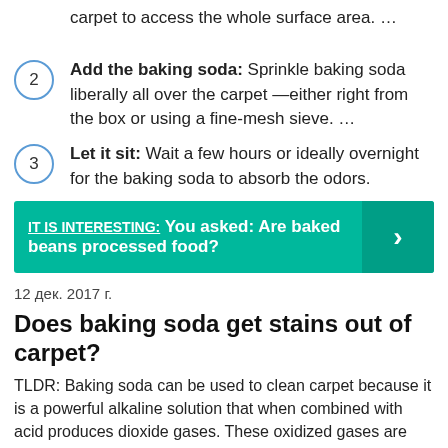carpet to access the whole surface area. …
Add the baking soda: Sprinkle baking soda liberally all over the carpet —either right from the box or using a fine-mesh sieve. …
Let it sit: Wait a few hours or ideally overnight for the baking soda to absorb the odors.
IT IS INTERESTING:  You asked: Are baked beans processed food?
12 дек. 2017 г.
Does baking soda get stains out of carpet?
TLDR: Baking soda can be used to clean carpet because it is a powerful alkaline solution that when combined with acid produces dioxide gases. These oxidized gases are highly